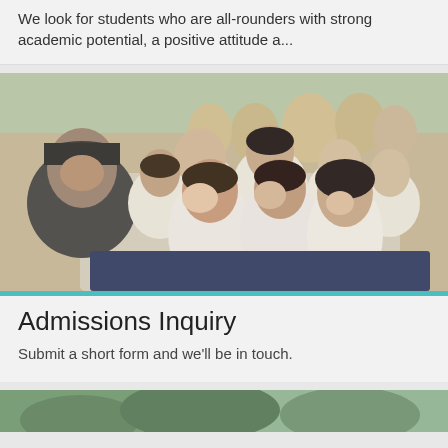We look for students who are all-rounders with strong academic potential, a positive attitude a...
[Figure (photo): Group photo of school students in white and navy uniforms with a teacher/coach taking a selfie outdoors]
Admissions Inquiry
Submit a short form and we'll be in touch.
[Figure (photo): Partial photo at bottom of page, cut off, showing outdoor scene]